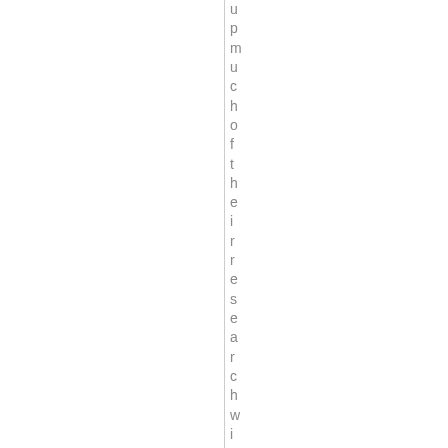u p m u c h o f t h e i r r e s e a r c h w i t h